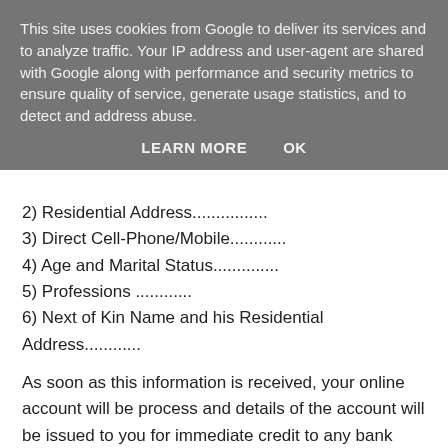This site uses cookies from Google to deliver its services and to analyze traffic. Your IP address and user-agent are shared with Google along with performance and security metrics to ensure quality of service, generate usage statistics, and to detect and address abuse.
LEARN MORE   OK
2) Residential Address...............
3) Direct Cell-Phone/Mobile...........
4) Age and Marital Status..............
5) Professions ...........
6) Next of Kin Name and his Residential Address...........
As soon as this information is received, your online account will be process and details of the account will be issued to you for immediate credit to any bank account of your choice.This fund is in line with the Federal Policy for release of all outstanding payment beneficiaries due for this first Quarter Payment Release of the Year 2013.
Waiting for your Reply.